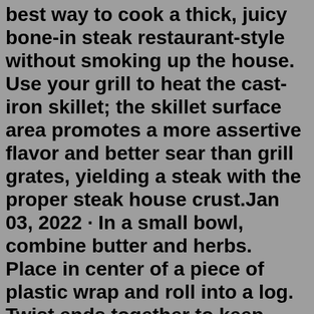best way to cook a thick, juicy bone-in steak restaurant-style without smoking up the house. Use your grill to heat the cast-iron skillet; the skillet surface area promotes a more assertive flavor and better sear than grill grates, yielding a steak with the proper steak house crust.Jan 03, 2022 · In a small bowl, combine butter and herbs. Place in center of a piece of plastic wrap and roll into a log. Twist ends together to keep tight and refrigerate until hardened, 20 minutes. Season ... sirloin steak, horseradish cream, olive oil, butter, creme fraiche and 4 more Grilled Sirloin Steak with Chimichurri Slender Kitchen garlic powder, cilantro, cumin, water, sauce, black pepper, salt and 9 moreGrilled Lime Chicken & Steak with Herb & Arugula Salad. 1. This recipe involves one of our favorite make-ahead hacks: let the chicken and steak marinate in reverse. In this recipe, you'll pour a punchy, citrusy dressing over the meat right after it leaves the grill, so it soaks up the bright vinaigrette as it cools. 23. Skillet Bourbon Steak. This super tasty sirloin steak starts with a dijon mustard